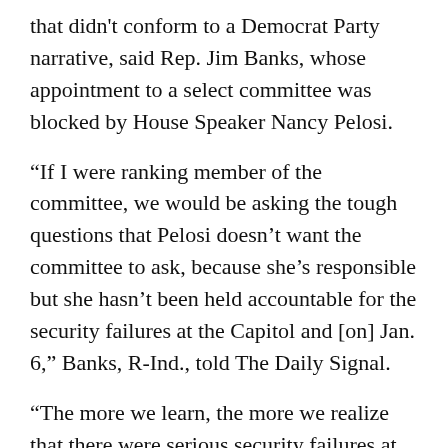that didn't conform to a Democrat Party narrative, said Rep. Jim Banks, whose appointment to a select committee was blocked by House Speaker Nancy Pelosi.
“If I were ranking member of the committee, we would be asking the tough questions that Pelosi doesn’t want the committee to ask, because she’s responsible but she hasn’t been held accountable for the security failures at the Capitol and [on] Jan. 6,” Banks, R-Ind., told The Daily Signal.
“The more we learn, the more we realize that there were serious security failures at the Capitol, and why doesn’t this committee want to dig into that?” Banks added later. “They don’t want to dig into it because it deviates from their political narrative.”
*** end quote ***